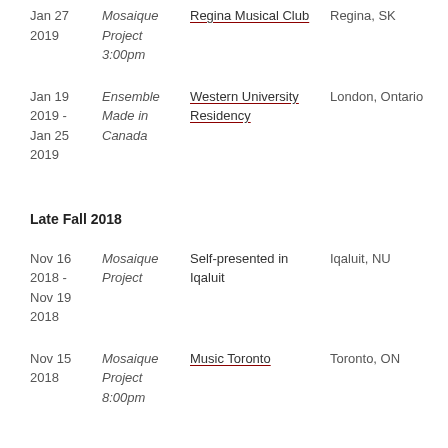Jan 27 2019 | Mosaique Project 3:00pm | Regina Musical Club | Regina, SK
Jan 19 2019 - Jan 25 2019 | Ensemble Made in Canada | Western University Residency | London, Ontario
Late Fall 2018
Nov 16 2018 - Nov 19 2018 | Mosaique Project | Self-presented in Iqaluit | Iqaluit, NU
Nov 15 2018 | Mosaique Project 8:00pm | Music Toronto | Toronto, ON